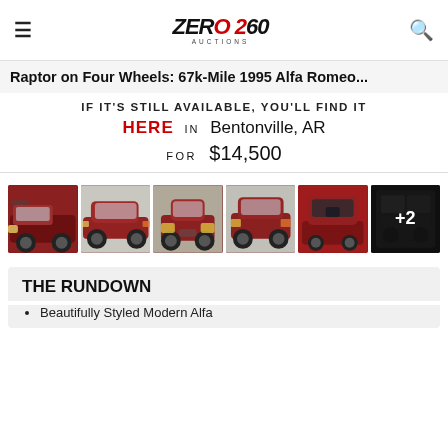≡  Zero260 Auctions  🔍
Raptor on Four Wheels: 67k-Mile 1995 Alfa Romeo...
IF IT'S STILL AVAILABLE, YOU'LL FIND IT HERE in Bentonville, AR FOR $14,500
[Figure (photo): Six thumbnail photos of a red 1995 Alfa Romeo convertible, with a +2 overlay on the last thumbnail]
THE RUNDOWN
Beautifully Styled Modern Alfa